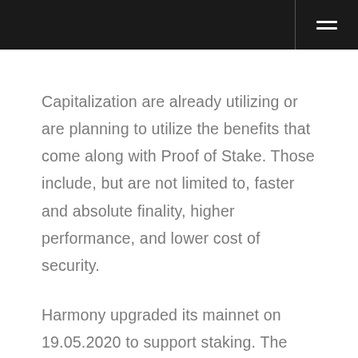Capitalization are already utilizing or are planning to utilize the benefits that come along with Proof of Stake. Those include, but are not limited to, faster and absolute finality, higher performance, and lower cost of security.
Harmony upgraded its mainnet on 19.05.2020 to support staking. The network has introduced the Effective Proof of Stake (ePoS) Consensus